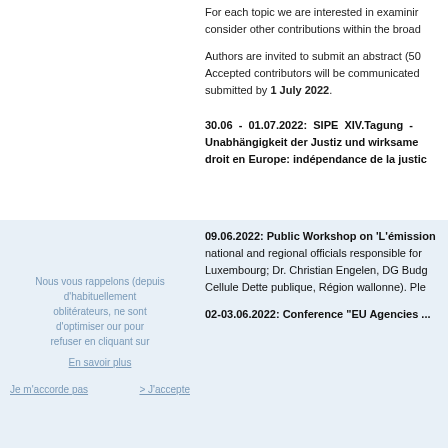For each topic we are interested in examining consider other contributions within the broad
Authors are invited to submit an abstract (50 Accepted contributors will be communicated submitted by 1 July 2022.
30.06 - 01.07.2022: SIPE XIV.Tagung - Unabhängigkeit der Justiz und wirksame droit en Europe: indépendance de la justice
09.06.2022: Public Workshop on 'L'émission national and regional officials responsible for Luxembourg; Dr. Christian Engelen, DG Budget Cellule Dette publique, Région wallonne). Please
02-03.06.2022: Conference "EU Agencies ..."
Nous vous rappelons (depuis d'habituellement oblitérateurs, ne sont d'optimiser our pour refuser en cliquant sur
En savoir plus
Je m'accorde pas > J'accepte